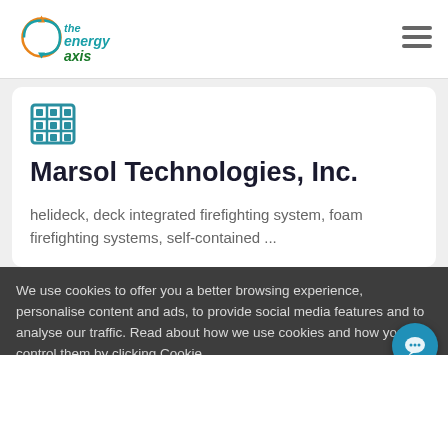[Figure (logo): The Energy Axis logo with circular arrow icon and stylized text in teal/orange]
[Figure (other): Hamburger menu icon (three horizontal lines)]
[Figure (other): Building/office grid icon in teal color]
Marsol Technologies, Inc.
helideck, deck integrated firefighting system, foam firefighting systems, self-contained ...
We use cookies to offer you a better browsing experience, personalise content and ads, to provide social media features and to analyse our traffic. Read about how we use cookies and how you can control them by clicking Cookie